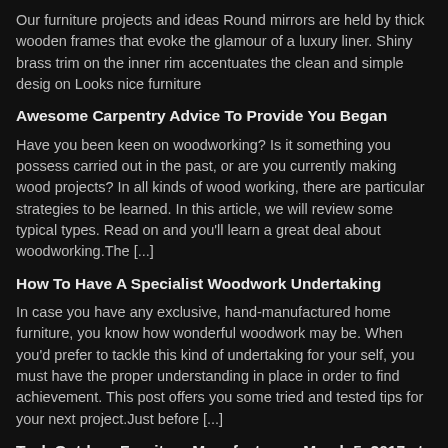Our furniture projects and ideas Round mirrors are held by thick wooden frames that evoke the glamour of a luxury liner. Shiny brass trim on the inner rim accentuates the clean and simple desig on Looks nice furniture
Awesome Carpentry Advice To Provide You Began
Have you been keen on woodworking? Is it something you possess carried out in the past, or are you currently making wood projects? In all kinds of wood working, there are particular strategies to be learned. In this article, we will review some typical types. Read on and you'll learn a great deal about woodworking.The [...]
How To Have A Specialist Woodwork Undertaking
In case you have any exclusive, hand-manufactured home furniture, you know how wonderful woodwork may be. When you'd prefer to tackle this kind of undertaking for your self, you must have the proper understanding in place in order to find achievement. This post offers you some tried and tested tips for your next project.Just before [...]
Teak Outdoor Furniture Manufacturers March 5, 2017 at 06:54PM
Our furniture projects and ideas awesome 503 Service Unavailable by http://ift.tt/2mGyY4s on Looks nice furniture